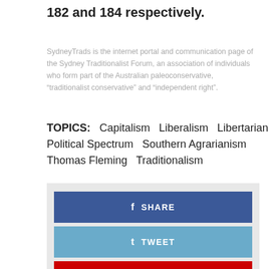182 and 184 respectively.
SydneyTrads is the internet portal and communication page of the Sydney Traditionalist Forum, an association of individuals who form part of the Australian paleoconservative, “traditionalist conservative” and “independent right”.
TOPICS:   Capitalism   Liberalism   Libertarianism   Political Spectrum   Southern Agrarianism   Thomas Fleming   Traditionalism
[Figure (infographic): Social share buttons: Facebook Share (blue), Twitter Tweet (light blue), Pinterest Pin (red), Google+ Share (dark red)]